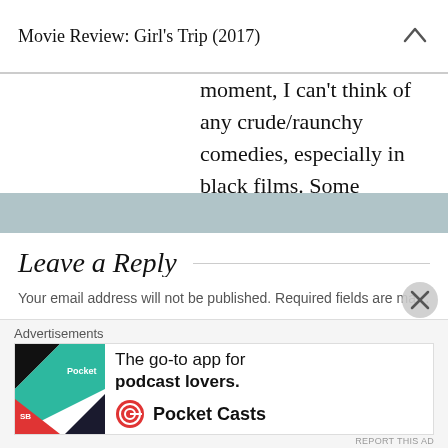Movie Review: Girl's Trip (2017)
moment, I can't think of any crude/raunchy comedies, especially in black films. Some comedy movies have crude humor or raunchy moments but this movie has it sprinkled throughout.
★ Like
REPLY
Leave a Reply
Your email address will not be published. Required fields are marked *
Advertisements
The go-to app for podcast lovers. Pocket Casts